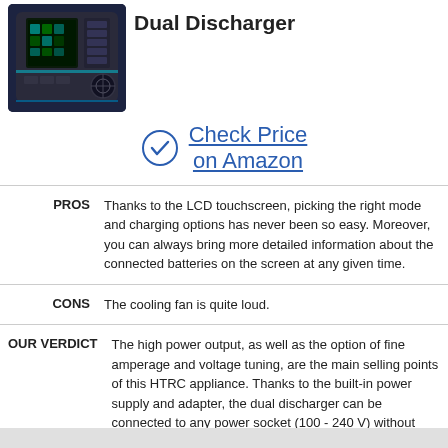[Figure (photo): Product photo of a dual battery charger/discharger device with LCD touchscreen and multiple buttons, dark colored]
Dual Discharger
Check Price on Amazon
PROS   Thanks to the LCD touchscreen, picking the right mode and charging options has never been so easy. Moreover, you can always bring more detailed information about the connected batteries on the screen at any given time.
CONS   The cooling fan is quite loud.
OUR VERDICT   The high power output, as well as the option of fine amperage and voltage tuning, are the main selling points of this HTRC appliance. Thanks to the built-in power supply and adapter, the dual discharger can be connected to any power socket (100 - 240 V) without frying its internal components.
DETAILED PARAMETERS